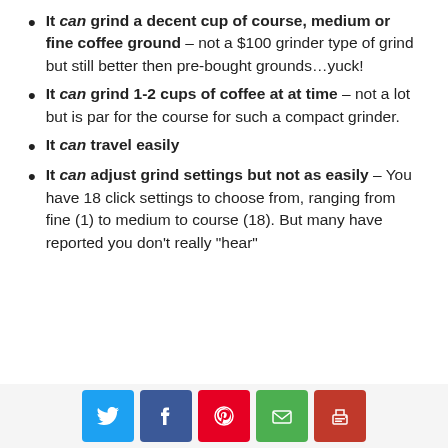It can grind a decent cup of course, medium or fine coffee ground – not a $100 grinder type of grind but still better then pre-bought grounds…yuck!
It can grind 1-2 cups of coffee at at time – not a lot but is par for the course for such a compact grinder.
It can travel easily
It can adjust grind settings but not as easily – You have 18 click settings to choose from, ranging from fine (1) to medium to course (18). But many have reported you don't really "hear"